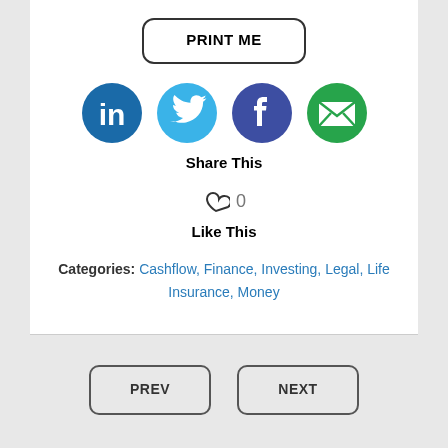PRINT ME
[Figure (infographic): Four circular social media icons: LinkedIn (dark blue), Twitter (light blue), Facebook (dark blue/indigo), and Email (green with envelope icon), arranged in a row.]
Share This
♡ 0
Like This
Categories: Cashflow, Finance, Investing, Legal, Life Insurance, Money
PREV
NEXT